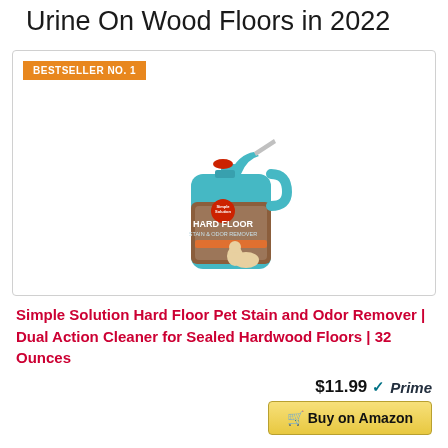Urine On Wood Floors in 2022
[Figure (photo): Simple Solution Hard Floor Stain & Odor Remover spray bottle with teal/blue design and red cap, featuring a puppy image on the label]
Simple Solution Hard Floor Pet Stain and Odor Remover | Dual Action Cleaner for Sealed Hardwood Floors | 32 Ounces
$11.99 Prime
Buy on Amazon